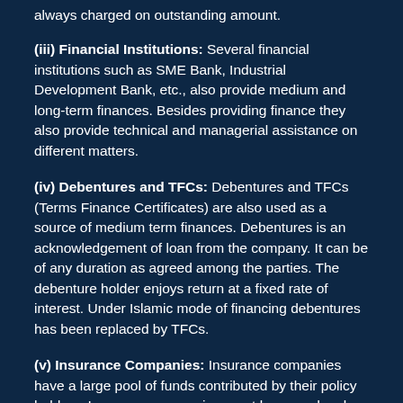always charged on outstanding amount.
(iii) Financial Institutions: Several financial institutions such as SME Bank, Industrial Development Bank, etc., also provide medium and long-term finances. Besides providing finance they also provide technical and managerial assistance on different matters.
(iv) Debentures and TFCs: Debentures and TFCs (Terms Finance Certificates) are also used as a source of medium term finances. Debentures is an acknowledgement of loan from the company. It can be of any duration as agreed among the parties. The debenture holder enjoys return at a fixed rate of interest. Under Islamic mode of financing debentures has been replaced by TFCs.
(v) Insurance Companies: Insurance companies have a large pool of funds contributed by their policy holders. Insurance companies grant loans and make investments out of this pool. Such loans are the source of medium term financing for various businesses.